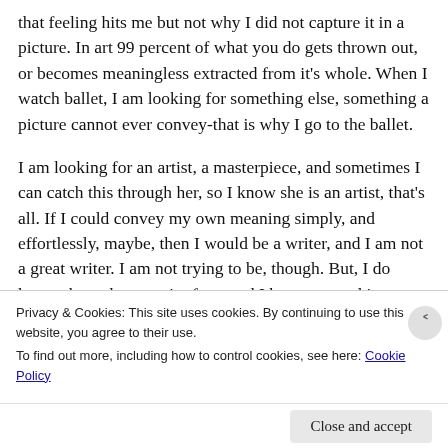that feeling hits me but not why I did not capture it in a picture. In art 99 percent of what you do gets thrown out, or becomes meaningless extracted from it's whole. When I watch ballet, I am looking for something else, something a picture cannot ever convey-that is why I go to the ballet.
I am looking for an artist, a masterpiece, and sometimes I can catch this through her, so I know she is an artist, that's all. If I could convey my own meaning simply, and effortlessly, maybe, then I would be a writer, and I am not a great writer. I am not trying to be, though. But, I do know about the pursuit of art, and I have pursued it
Privacy & Cookies: This site uses cookies. By continuing to use this website, you agree to their use.
To find out more, including how to control cookies, see here: Cookie Policy
Close and accept